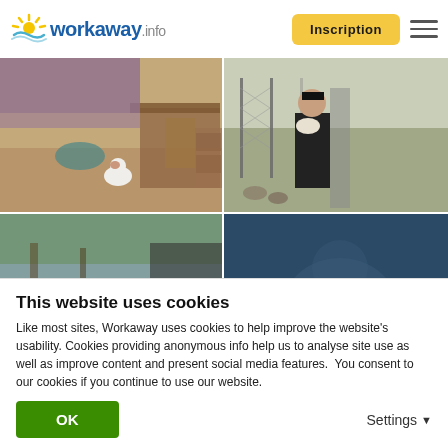workaway.info — Inscription
[Figure (photo): Four-photo grid: top-left indoor scene with dog; top-right person holding animal outdoors behind chain-link fence; bottom-left group of people outdoors; bottom-right dark blue panel with text 'Voir toutes les']
This website uses cookies
Like most sites, Workaway uses cookies to help improve the website's usability. Cookies providing anonymous info help us to analyse site use as well as improve content and present social media features.  You consent to our cookies if you continue to use our website.
OK
Settings